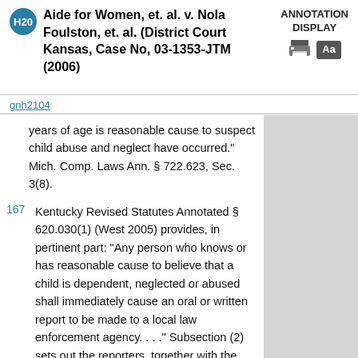Aide for Women, et. al. v. Nola Foulston, et. al. (District Court Kansas, Case No, 03-1353-JTM (2006)
ANNOTATION DISPLAY
gnh2104
years of age is reasonable cause to suspect child abuse and neglect have occurred." Mich. Comp. Laws Ann. § 722.623, Sec. 3(8).
167 Kentucky Revised Statutes Annotated § 620.030(1) (West 2005) provides, in pertinent part: "Any person who knows or has reasonable cause to believe that a child is dependent, neglected or abused shall immediately cause an oral or written report to be made to a local law enforcement agency. . . ." Subsection (2) sets out the reporters, together with the